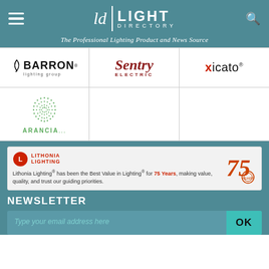Light Directory — The Professional Lighting Product and News Source
[Figure (logo): Barron Lighting Group logo]
[Figure (logo): Sentry Electric logo]
[Figure (logo): Xicato logo]
[Figure (logo): Arancia logo — green dotted circle with company name]
[Figure (logo): Lithonia Lighting 75 years advertisement banner — Lithonia Lighting has been the Best Value in Lighting for 75 Years, making value, quality, and trust our guiding priorities.]
NEWSLETTER
Type your email address here